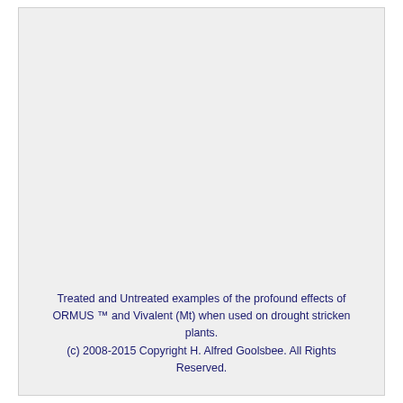[Figure (photo): Large blank/light gray image area showing treated and untreated plant examples (image content not visible in this rendering)]
Treated and Untreated examples of the profound effects of ORMUS ™ and Vivalent (Mt) when used on drought stricken plants. (c) 2008-2015 Copyright H. Alfred Goolsbee. All Rights Reserved.